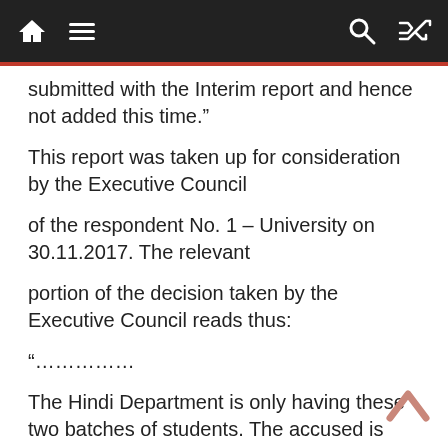[Navigation bar with home, menu, search, and shuffle icons]
submitted with the Interim report and hence not added this time.”
This report was taken up for consideration by the Executive Council
of the respondent No. 1 – University on 30.11.2017. The relevant
portion of the decision taken by the Executive Council reads thus:
“……………
The Hindi Department is only having these two batches of students. The accused is presently aged 62.
He had committed sexual misconduct with the girl